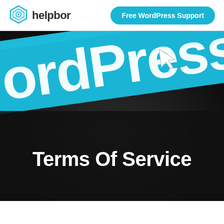helpbot — Free WordPress Support
[Figure (photo): Close-up photo of a computer screen showing 'WordPress.com' text in white on a teal/blue browser bar, with a mouse cursor pointer icon, against a dark blurred background. Large white text 'Terms Of Service' overlaid on the dark lower portion of the image.]
Terms Of Service